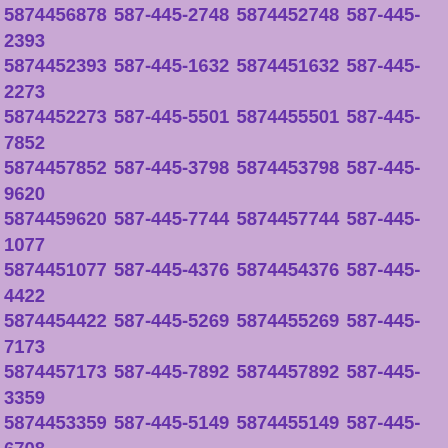5874456878 587-445-2748 5874452748 587-445-2393 5874452393 587-445-1632 5874451632 587-445-2273 5874452273 587-445-5501 5874455501 587-445-7852 5874457852 587-445-3798 5874453798 587-445-9620 5874459620 587-445-7744 5874457744 587-445-1077 5874451077 587-445-4376 5874454376 587-445-4422 5874454422 587-445-5269 5874455269 587-445-7173 5874457173 587-445-7892 5874457892 587-445-3359 5874453359 587-445-5149 5874455149 587-445-6708 5874456708 587-445-4059 5874454059 587-445-2944 5874452944 587-445-3204 5874453204 587-445-3996 5874453996 587-445-1332 5874451332 587-445-3369 5874453369 587-445-4759 5874454759 587-445-2842 5874452842 587-445-5622 5874455622 587-445-6643 5874456643 587-445-1879 5874451879 587-445-9783 5874459783 587-445-7530 5874457530 587-445-6307 5874456307 587-445-6938 5874456938 587-445-7661 5874457661 587-445-6653 5874456653 587-445-8161 5874458161 587-445-7275 5874457275 587-445-1729 5874451729 587-445-3278 5874453278 587-445-1615 5874451615 587-445-4822 5874454822 587-445-6204